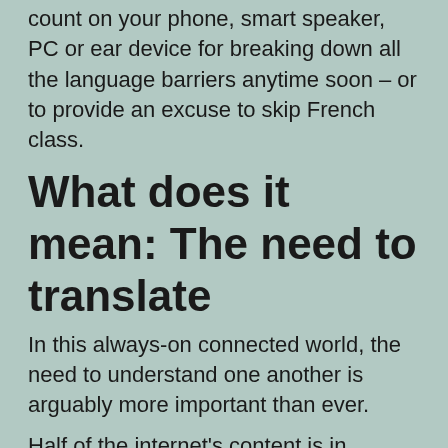count on your phone, smart speaker, PC or ear device for breaking down all the language barriers anytime soon – or to provide an excuse to skip French class.
What does it mean: The need to translate
In this always-on connected world, the need to understand one another is arguably more important than ever.
Half of the internet's content is in English, says Google AI director of product Barak Turovsky,, but only 20% of the global population have any